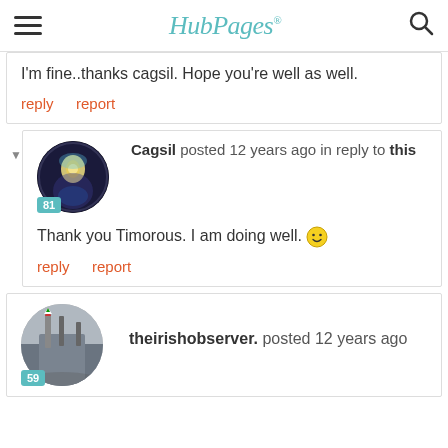HubPages
I'm fine..thanks cagsil.  Hope you're well as well.
reply   report
Cagsil posted 12 years ago in reply to this
Thank you Timorous. I am doing well. 🙂
reply   report
theirishobserver. posted 12 years ago